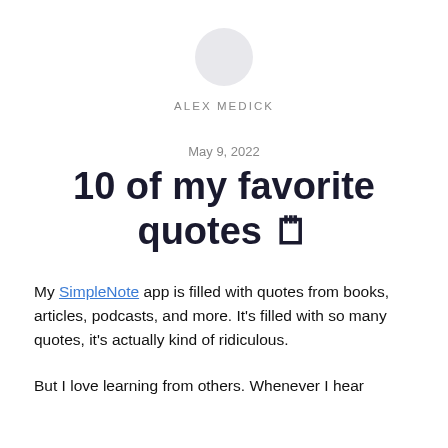[Figure (illustration): Circular avatar placeholder in light gray]
ALEX MEDICK
May 9, 2022
10 of my favorite quotes 🗒
My SimpleNote app is filled with quotes from books, articles, podcasts, and more. It's filled with so many quotes, it's actually kind of ridiculous.
But I love learning from others. Whenever I hear